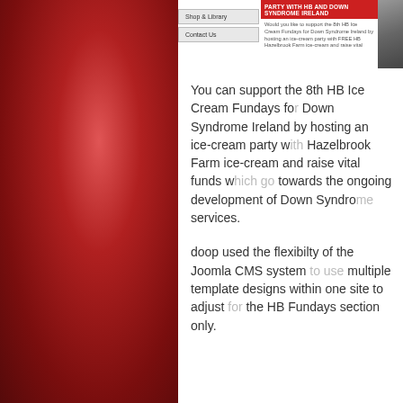[Figure (screenshot): Website screenshot showing navigation items 'Shop & Library' and 'Contact Us' on left, and a red header bar reading 'PARTY WITH HB AND DOWN SYNDROME IRELAND' with descriptive text about hosting an ice-cream party, and a partial photo on right.]
You can support the 8th HB Ice Cream Fundays for Down Syndrome Ireland by hosting an ice-cream party with Hazelbrook Farm ice-cream and raise vital funds towards the ongoing development of Down Syndrome services.
doop used the flexibilty of the Joomla CMS system multiple template designs within one site to adjust the HB Fundays section only.
• CMS
• DESIGN
• JOOMLA!
BLOG, CLIENT, INDUSTRY, NEWS, WEBSITE, WORK
IRISH DEAF KIDS WIN